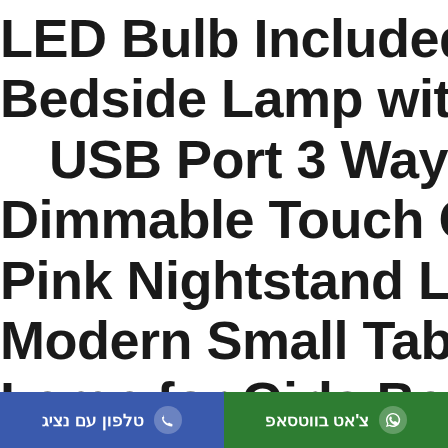LED Bulb Included Bedside Lamp with Dual USB Port 3 Way Dimmable Touch Control Pink Nightstand Lamp Modern Small Table Lamp for Girls Bedroom Living Room Office 1 Pack
טלפון עם נציג | צ'אט בווטסאפ